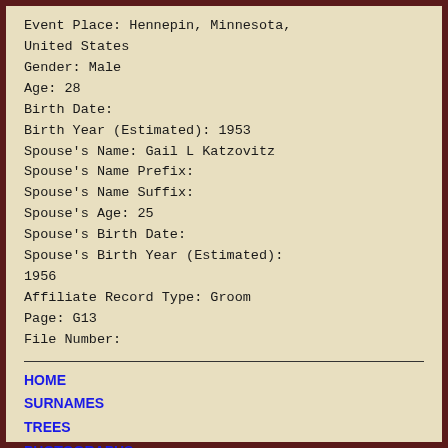Event Place: Hennepin, Minnesota, United States
Gender: Male
Age: 28
Birth Date:
Birth Year (Estimated): 1953
Spouse's Name: Gail L Katzovitz
Spouse's Name Prefix:
Spouse's Name Suffix:
Spouse's Age: 25
Spouse's Birth Date:
Spouse's Birth Year (Estimated): 1956
Affiliate Record Type: Groom
Page: G13
File Number:
HOME
SURNAMES
TREES
PHOTOGRAPHS
CONTACT